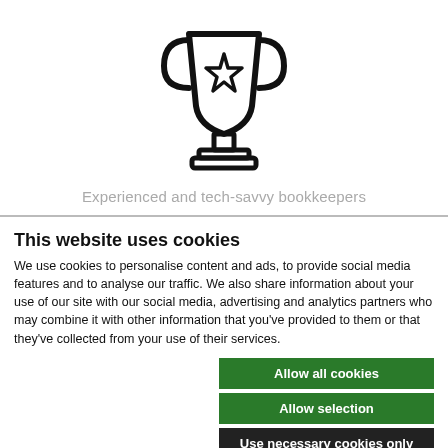[Figure (illustration): Trophy / award cup icon with a star on it, drawn in black outline style]
Experienced and tech-savvy bookkeepers
This website uses cookies
We use cookies to personalise content and ads, to provide social media features and to analyse our traffic. We also share information about your use of our site with our social media, advertising and analytics partners who may combine it with other information that you've provided to them or that they've collected from your use of their services.
Allow all cookies
Allow selection
Use necessary cookies only
Necessary   Preferences   Statistics   Marketing   Show details